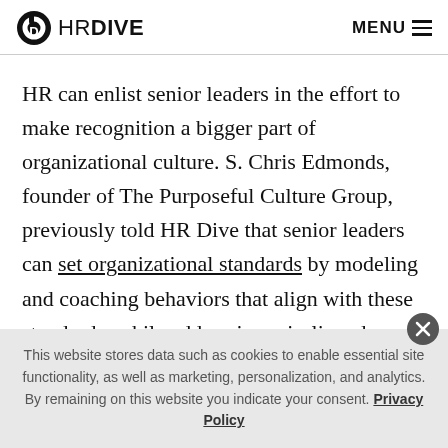HR DIVE  MENU
HR can enlist senior leaders in the effort to make recognition a bigger part of organizational culture. S. Chris Edmonds, founder of The Purposeful Culture Group, previously told HR Dive that senior leaders can set organizational standards by modeling and coaching behaviors that align with these standards, while addressing misaligned behaviors.
This website stores data such as cookies to enable essential site functionality, as well as marketing, personalization, and analytics. By remaining on this website you indicate your consent. Privacy Policy